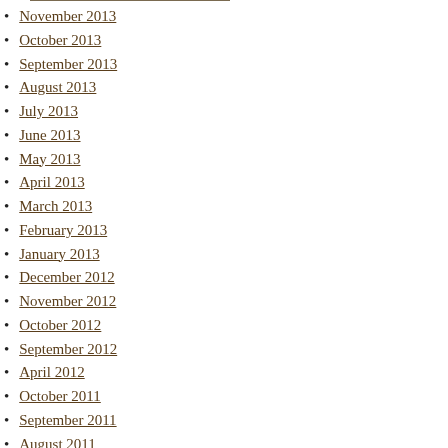November 2013
October 2013
September 2013
August 2013
July 2013
June 2013
May 2013
April 2013
March 2013
February 2013
January 2013
December 2012
November 2012
October 2012
September 2012
April 2012
October 2011
September 2011
August 2011
July 2011
June 2011